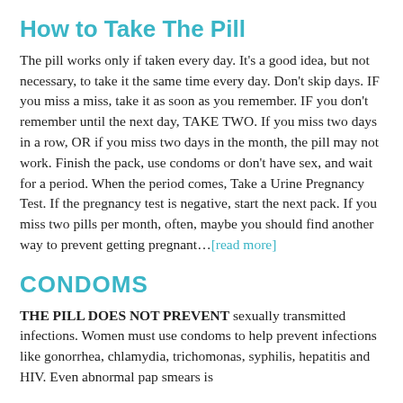How to Take The Pill
The pill works only if taken every day. It's a good idea, but not necessary, to take it the same time every day. Don't skip days. IF you miss a miss, take it as soon as you remember. IF you don't remember until the next day, TAKE TWO. If you miss two days in a row, OR if you miss two days in the month, the pill may not work. Finish the pack, use condoms or don't have sex, and wait for a period. When the period comes, Take a Urine Pregnancy Test. If the pregnancy test is negative, start the next pack. If you miss two pills per month, often, maybe you should find another way to prevent getting pregnant...[read more]
CONDOMS
THE PILL DOES NOT PREVENT sexually transmitted infections. Women must use condoms to help prevent infections like gonorrhea, chlamydia, trichomonas, syphilis, hepatitis and HIV. Even abnormal pap smears is